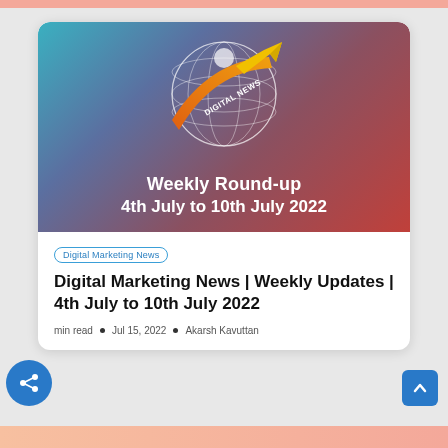[Figure (illustration): Hero banner image with gradient background (teal to red), wireframe globe with yellow arrow and orange banner reading DIGITAL NEWS, white text: Weekly Round-up 4th July to 10th July 2022]
Digital Marketing News
Digital Marketing News | Weekly Updates | 4th July to 10th July 2022
min read • Jul 15, 2022 • Akarsh Kavuttan